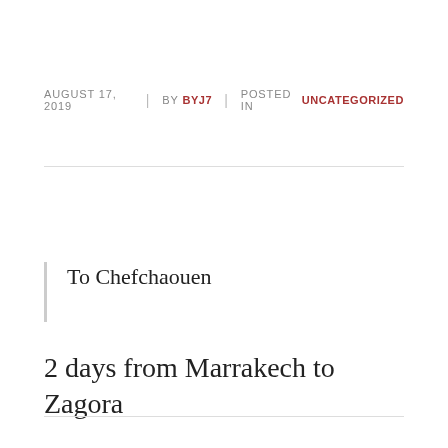AUGUST 17, 2019  |  BY BYJ7  |  POSTED IN UNCATEGORIZED
To Chefchaouen
2 days from Marrakech to Zagora